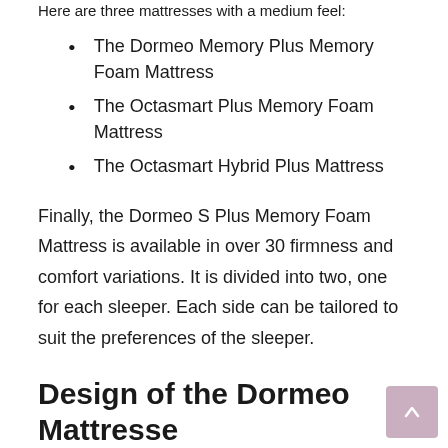Here are three mattresses with a medium feel:
The Dormeo Memory Plus Memory Foam Mattress
The Octasmart Plus Memory Foam Mattress
The Octasmart Hybrid Plus Mattress
Finally, the Dormeo S Plus Memory Foam Mattress is available in over 30 firmness and comfort variations. It is divided into two, one for each sleeper. Each side can be tailored to suit the preferences of the sleeper.
Design of the Dormeo Mattresse